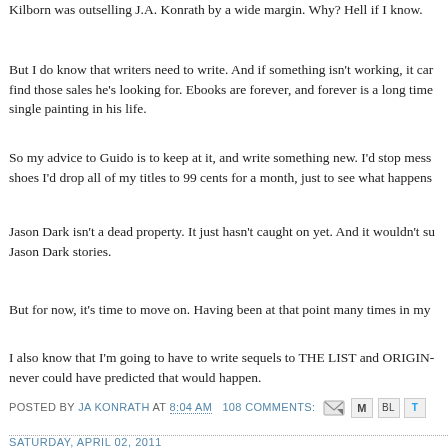Kilborn was outselling J.A. Konrath by a wide margin. Why? Hell if I know.
But I do know that writers need to write. And if something isn't working, it can find those sales he's looking for. Ebooks are forever, and forever is a long time single painting in his life.
So my advice to Guido is to keep at it, and write something new. I'd stop mess shoes I'd drop all of my titles to 99 cents for a month, just to see what happens
Jason Dark isn't a dead property. It just hasn't caught on yet. And it wouldn't su Jason Dark stories.
But for now, it's time to move on. Having been at that point many times in my
I also know that I'm going to have to write sequels to THE LIST and ORIGIN- never could have predicted that would happen.
POSTED BY JA KONRATH AT 8:04 AM   108 COMMENTS:
SATURDAY, APRIL 02, 2011